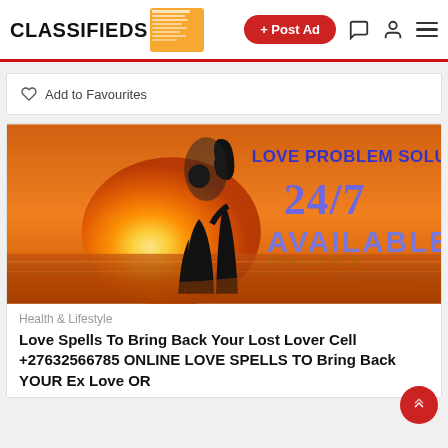CLASSIFIEDS + Post Ad
♡ Add to Favourites
[Figure (illustration): Sunset silhouette of a couple with text: LOVE PROBLEM SOLUTION 24/7 AVAILABLE]
Health & Lifestyle
Love Spells To Bring Back Your Lost Lover Cell +27632566785 ONLINE LOVE SPELLS TO Bring Back YOUR Ex Love OR